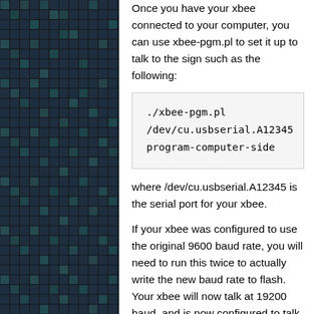[Figure (illustration): Left panel with dark teal/navy grid pattern made of small squares with black grid lines, resembling an LED matrix or pixel art background.]
Once you have your xbee connected to your computer, you can use xbee-pgm.pl to set it up to talk to the sign such as the following:
./xbee-pgm.pl /dev/cu.usbserial.A12345 program-computer-side
where /dev/cu.usbserial.A12345 is the serial port for your xbee.
If your xbee was configured to use the original 9600 baud rate, you will need to run this twice to actually write the new baud rate to flash. Your xbee will now talk at 19200 baud, and is now configured to talk to the sign.
Uploading new sign code [edit]
To compile new sign code, simply